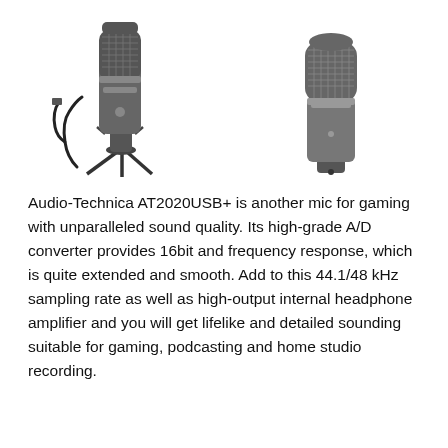[Figure (photo): Two Audio-Technica microphones shown side by side. Left: AT2020USB+ condenser microphone on a small desktop tripod stand with a USB cable. Right: AT2020 condenser microphone without stand, showing the body and connector.]
Audio-Technica AT2020USB+ is another mic for gaming with unparalleled sound quality. Its high-grade A/D converter provides 16bit and frequency response, which is quite extended and smooth. Add to this 44.1/48 kHz sampling rate as well as high-output internal headphone amplifier and you will get lifelike and detailed sounding suitable for gaming, podcasting and home studio recording.